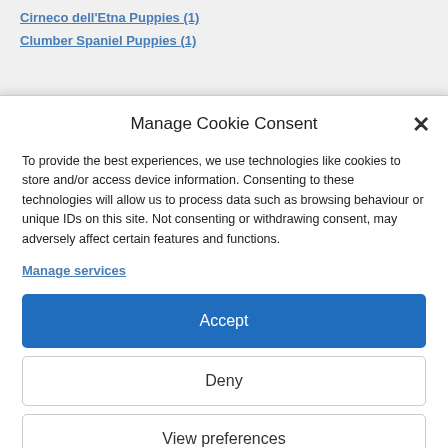Cirneco dell'Etna Puppies (1)
Clumber Spaniel Puppies (1)
Manage Cookie Consent
To provide the best experiences, we use technologies like cookies to store and/or access device information. Consenting to these technologies will allow us to process data such as browsing behaviour or unique IDs on this site. Not consenting or withdrawing consent, may adversely affect certain features and functions.
Manage services
Accept
Deny
View preferences
Cookie Policy   Privacy Policy